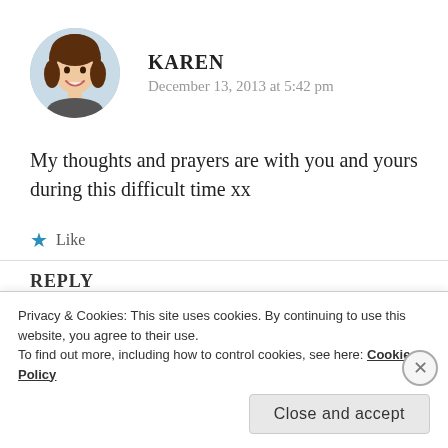[Figure (photo): Circular avatar photo of a smiling woman with brown hair]
KAREN
December 13, 2013 at 5:42 pm
My thoughts and prayers are with you and yours during this difficult time xx
★ Like
REPLY
Privacy & Cookies: This site uses cookies. By continuing to use this website, you agree to their use.
To find out more, including how to control cookies, see here: Cookie Policy
Close and accept